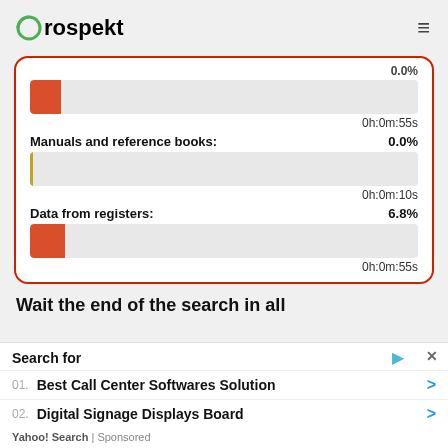Prospekt
0.0%
[Figure (other): Progress bar with small red fill, near 0%]
0h:0m:55s
Manuals and reference books: 0.0%
[Figure (other): Progress bar with minimal gold/yellow fill, near 0%]
0h:0m:10s
Data from registers: 6.8%
[Figure (other): Progress bar with small red fill, ~6.8%]
0h:0m:55s
Wait the end of the search in all
Search for
01. Best Call Center Softwares Solution
02. Digital Signage Displays Board
Yahoo! Search | Sponsored